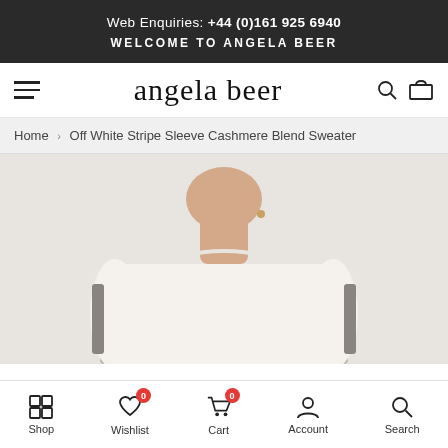Web Enquiries: +44 (0)161 925 6940
WELCOME TO ANGELA BEER
angela beer
Home > Off White Stripe Sleeve Cashmere Blend Sweater
[Figure (photo): A woman wearing an off-white cashmere blend sweater with stripe sleeves, photographed from neck to waist against a light background.]
Shop  Wishlist  Cart  Account  Search